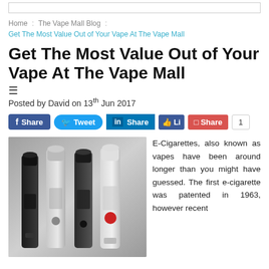Home : The Vape Mall Blog : Get The Most Value Out of Your Vape At The Vape Mall
Get The Most Value Out of Your Vape At The Vape Mall
Posted by David on 13th Jun 2017
[Figure (screenshot): Social sharing buttons: Facebook Share, Twitter Tweet, LinkedIn Share, Like button, red Share button with count 1]
[Figure (photo): Four e-cigarette/vape pens standing upright against a grey background. Colors: black, silver/white, dark grey, and white with red accent.]
E-Cigarettes, also known as vapes have been around longer than you might have guessed. The first e-cigarette was patented in 1963, however recent